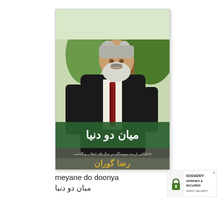[Figure (photo): Book cover of 'Meyane Do Doonya' (میان دو دنیا) by Reza Gouran (رضا گوران). Cover shows a bearded middle-aged man in a black suit with a patterned tie, standing outdoors with green trees in the background. The title is displayed in Persian script on a dark green banner near the bottom, with the author's name in gold/yellow text below it.]
meyane do doonya
[Figure (logo): GoDaddy Verified & Secured badge with lock icon and text 'GODADDY VERIFIED & SECURED VERIFY SECURITY']
میان دو دنیا